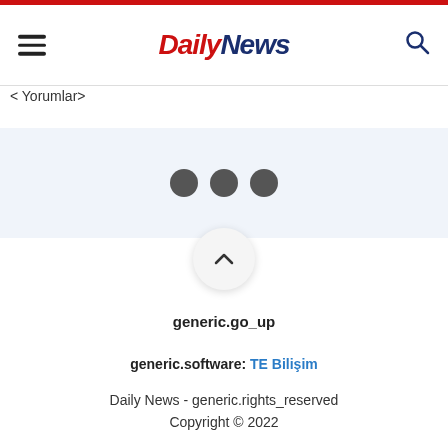Daily News
< Yorumlar>
[Figure (other): Loading spinner with three dark dots on light blue background, and a scroll-to-top button with chevron up icon]
generic.go_up
generic.software: TE Bilişim
Daily News - generic.rights_reserved
Copyright © 2022